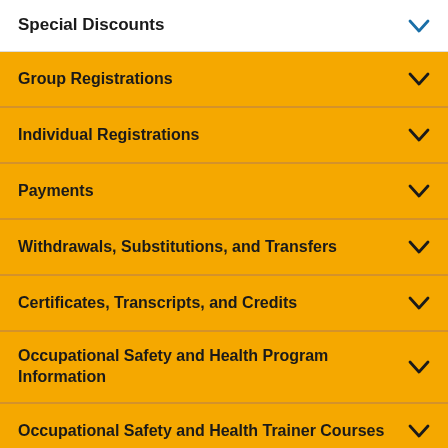Special Discounts
Group Registrations
Individual Registrations
Payments
Withdrawals, Substitutions, and Transfers
Certificates, Transcripts, and Credits
Occupational Safety and Health Program Information
Occupational Safety and Health Trainer Courses